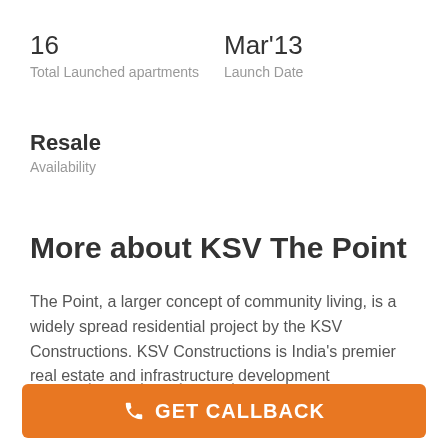16
Total Launched apartments
Mar'13
Launch Date
Resale
Availability
More about KSV The Point
The Point, a larger concept of community living, is a widely spread residential project by the KSV Constructions. KSV Constructions is India's premier real estate and infrastructure development compan...read more
KSV The Point Floor Plans
GET CALLBACK